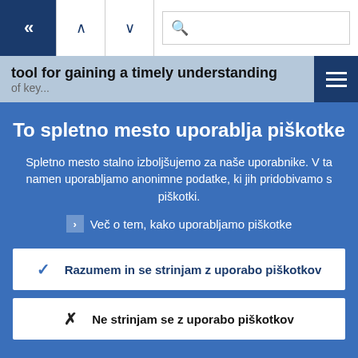[Figure (screenshot): Browser navigation bar with back button (dark blue with double left arrow), up/down navigation arrows, and a search box with magnifying glass icon]
tool for gaining a timely understanding of key...
To spletno mesto uporablja piškotke
Spletno mesto stalno izboljšujemo za naše uporabnike. V ta namen uporabljamo anonimne podatke, ki jih pridobivamo s piškotki.
Več o tem, kako uporabljamo piškotke
Razumem in se strinjam z uporabo piškotkov
Ne strinjam se z uporabo piškotkov